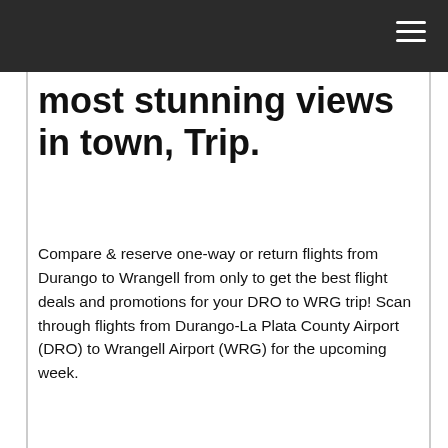most stunning views in town, Trip.
Compare & reserve one-way or return flights from Durango to Wrangell from only to get the best flight deals and promotions for your DRO to WRG trip! Scan through flights from Durango-La Plata County Airport (DRO) to Wrangell Airport (WRG) for the upcoming week.
Sort the list by any column, and click on a dollar sign to see the latest prices available for each flight. Scan through flights from Wrangell Airport (WRG) to Durango-La Plata County Airport (DRO) for the upcoming week. Sort the list by any column, and click on a dollar sign to see the latest prices available for each flight. Jun 06, Flights to Wrangell,